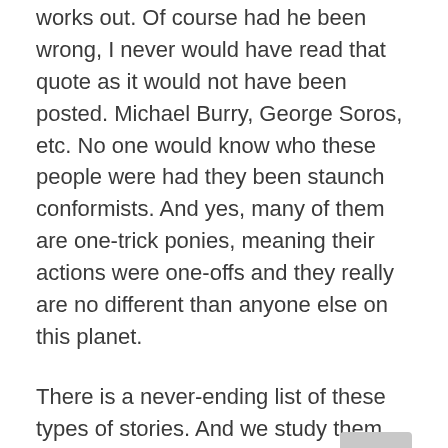works out. Of course had he been wrong, I never would have read that quote as it would not have been posted. Michael Burry, George Soros, etc. No one would know who these people were had they been staunch conformists. And yes, many of them are one-trick ponies, meaning their actions were one-offs and they really are no different than anyone else on this planet.
There is a never-ending list of these types of stories. And we study them, arguably too much, because the ultimate path taken was simply the opposite of the crowd. This behavior is typically recognized as admirable, because deep down, we know how hard this is to do.
These days, we live in what many describe as a very